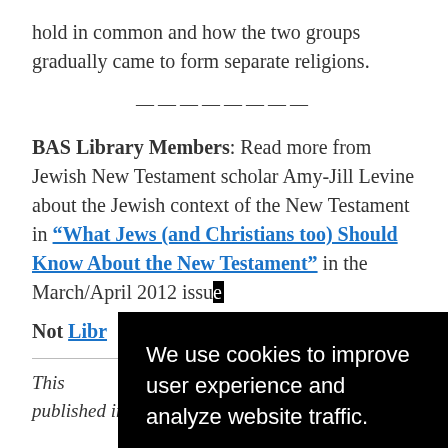hold in common and how the two groups gradually came to form separate religions.
———————
BAS Library Members: Read more from Jewish New Testament scholar Amy-Jill Levine about the Jewish context of the New Testament in “What Jews (and Christians too) Should Know About the New Testament” in the March/April 2012 issue
Not a Member of the BAS Library
We use cookies to improve user experience and analyze website traffic.
Accept
This published in March 2012.